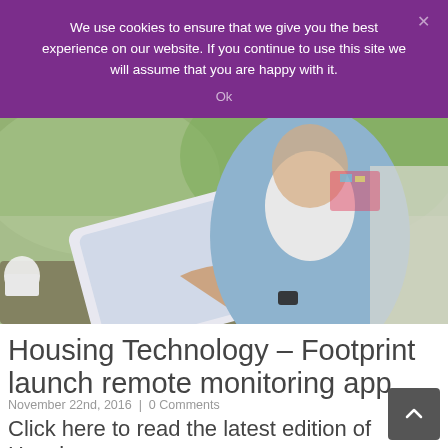We use cookies to ensure that we give you the best experience on our website. If you continue to use this site we will assume that you are happy with it.
Ok
[Figure (photo): An elderly woman in a blue cardigan sitting outdoors, being shown a tablet device by someone wearing a watch. Green outdoor background.]
Housing Technology – Footprint launch remote monitoring app
November 22nd, 2016  |  0 Comments
Click here to read the latest edition of Housing